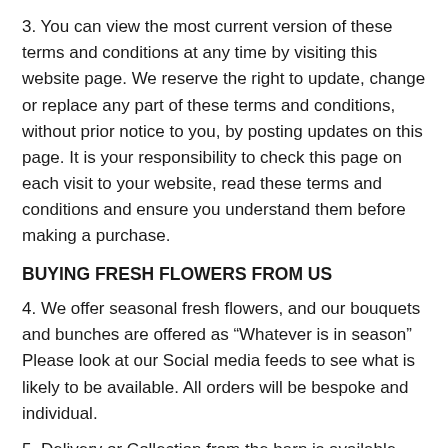3. You can view the most current version of these terms and conditions at any time by visiting this website page. We reserve the right to update, change or replace any part of these terms and conditions, without prior notice to you, by posting updates on this page. It is your responsibility to check this page on each visit to your website, read these terms and conditions and ensure you understand them before making a purchase.
BUYING FRESH FLOWERS FROM US
4. We offer seasonal fresh flowers, and our bouquets and bunches are offered as "Whatever is in season" Please look at our Social media feeds to see what is likely to be available. All orders will be bespoke and individual.
5. Delivery or Collection from the barn is available Tuesday-Saturday April to October, or at other times of the year by advance appointment. Orders must be placed for next day delivery by 4pm, or same day delivery by 8am. Please see our delivery details here
6. When you place an order you will receive an email confirming the details of your order. This email is not confirmation that your